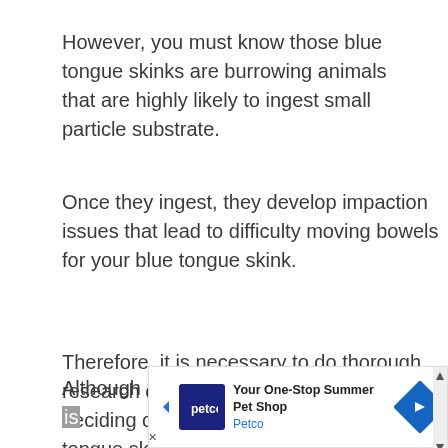However, you must know those blue tongue skinks are burrowing animals that are highly likely to ingest small particle substrate.
Once they ingest, they develop impaction issues that lead to difficulty moving bowels for your blue tongue skink.
Therefore, it is necessary to do thorough research on the substrate before deciding on the one to use for blue tongue skink.
Although most people think reptile carpet is
[Figure (other): Petco advertisement banner: 'Your One-Stop Summer Pet Shop - Petco' with blue Petco logo icon and blue diamond arrow icon]